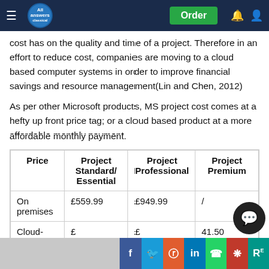All Answers - navigation bar with Order button
cost has on the quality and time of a project. Therefore in an effort to reduce cost, companies are moving to a cloud based computer systems in order to improve financial savings and resource management(Lin and Chen, 2012)
As per other Microsoft products, MS project cost comes at a hefty up front price tag; or a cloud based product at a more affordable monthly payment.
| Price | Project Standard/Essential | Project Professional | Project Premium |
| --- | --- | --- | --- |
| On premises | £559.99 | £949.99 | / |
| Cloud- | £... | £...2 | 41.50 |